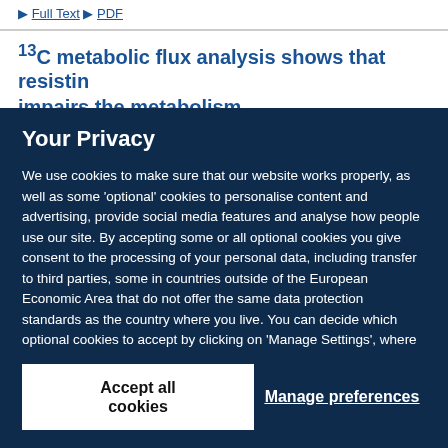Full Text  PDF
13C metabolic flux analysis shows that resistin impairs the metabolism…
Your Privacy
We use cookies to make sure that our website works properly, as well as some 'optional' cookies to personalise content and advertising, provide social media features and analyse how people use our site. By accepting some or all optional cookies you give consent to the processing of your personal data, including transfer to third parties, some in countries outside of the European Economic Area that do not offer the same data protection standards as the country where you live. You can decide which optional cookies to accept by clicking on 'Manage Settings', where you can also find more information about how your personal data is processed. Further information can be found in our privacy policy.
Accept all cookies
Manage preferences